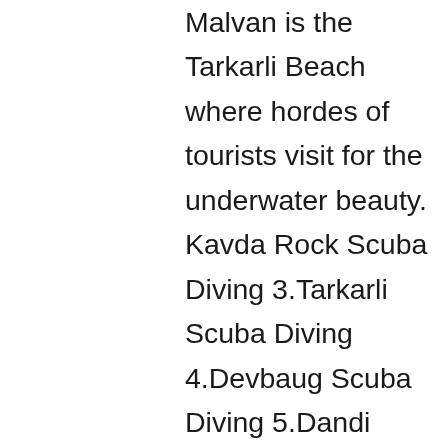Malvan is the Tarkarli Beach where hordes of tourists visit for the underwater beauty. Kavda Rock Scuba Diving 3.Tarkarli Scuba Diving 4.Devbaug Scuba Diving 5.Dandi Scuba Diving One can enjoy Scuba Diving at any of the above mentioned spots. It is famous for its pristine beaches. …Not only this, one can also explore Scuba Diving In Malvan, which is the most popular activity to experience. The whole team of picnicwale was supportive and also well-skilled. In water sports we offer you jet ski, bump ride, banana boat ride and